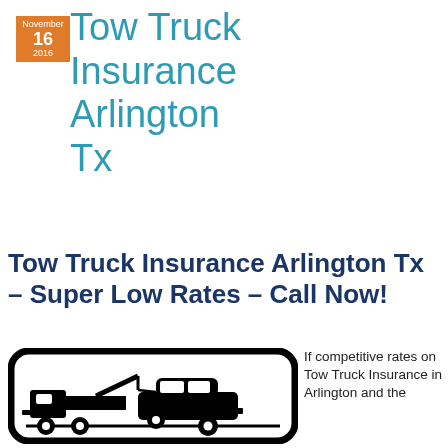November 16 2016
Tow Truck Insurance Arlington Tx
Tow Truck Insurance Arlington Tx – Super Low Rates – Call Now!
[Figure (illustration): Road sign icon showing a tow truck towing a car, black silhouette on white background inside a rounded rectangle border]
If competitive rates on Tow Truck Insurance in Arlington and the